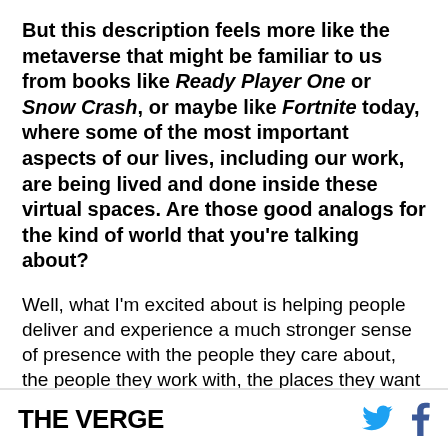But this description feels more like the metaverse that might be familiar to us from books like Ready Player One or Snow Crash, or maybe like Fortnite today, where some of the most important aspects of our lives, including our work, are being lived and done inside these virtual spaces. Are those good analogs for the kind of world that you're talking about?
Well, what I'm excited about is helping people deliver and experience a much stronger sense of presence with the people they care about, the people they work with, the places they want to be. And the quality is that to show with the people in is set
THE VERGE